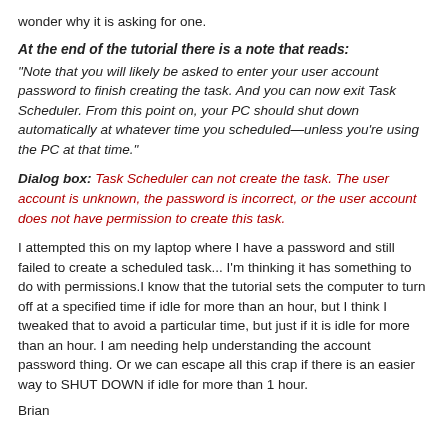wonder why it is asking for one.
At the end of the tutorial there is a note that reads:
"Note that you will likely be asked to enter your user account password to finish creating the task. And you can now exit Task Scheduler. From this point on, your PC should shut down automatically at whatever time you scheduled—unless you're using the PC at that time."
Dialog box: Task Scheduler can not create the task. The user account is unknown, the password is incorrect, or the user account does not have permission to create this task.
I attempted this on my laptop where I have a password and still failed to create a scheduled task... I'm thinking it has something to do with permissions.I know that the tutorial sets the computer to turn off at a specified time if idle for more than an hour, but I think I tweaked that to avoid a particular time, but just if it is idle for more than an hour. I am needing help understanding the account password thing. Or we can escape all this crap if there is an easier way to SHUT DOWN if idle for more than 1 hour.
Brian